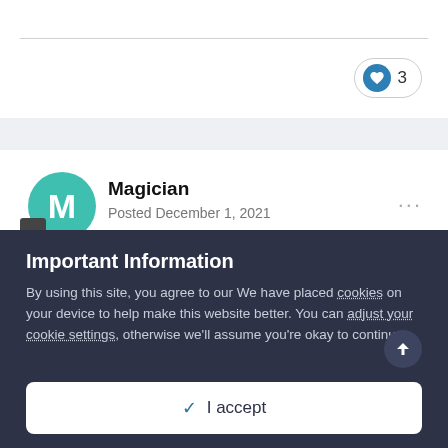[Figure (other): Like button with heart icon showing count of 3]
Magician
Posted December 1, 2021
About One Ordinary Day
Important Information
By using this site, you agree to our We have placed cookies on your device to help make this website better. You can adjust your cookie settings, otherwise we'll assume you're okay to continue..
✓  I accept